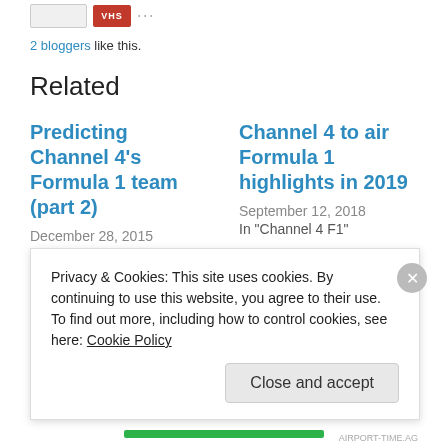[Figure (other): Social sharing icons: a grey box, a red VHS-style icon, and dots/share icons]
2 bloggers like this.
Related
Predicting Channel 4's Formula 1 team (part 2)
December 28, 2015
In "Channel 4 F1"
Channel 4 to air Formula 1 highlights in 2019
September 12, 2018
In "Channel 4 F1"
How the BBC / Sky deal changed F1
Privacy & Cookies: This site uses cookies. By continuing to use this website, you agree to their use.
To find out more, including how to control cookies, see here: Cookie Policy
Close and accept